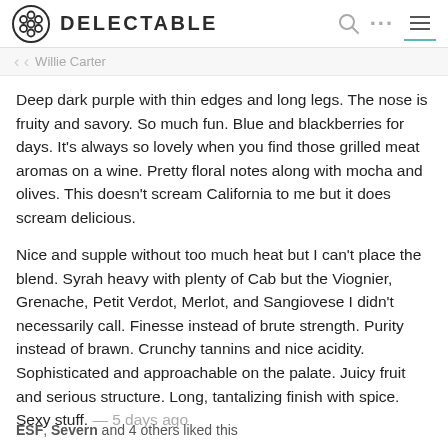DELECTABLE
Willie Carter
Deep dark purple with thin edges and long legs. The nose is fruity and savory. So much fun. Blue and blackberries for days. It’s always so lovely when you find those grilled meat aromas on a wine. Pretty floral notes along with mocha and olives. This doesn’t scream California to me but it does scream delicious.
Nice and supple without too much heat but I can’t place the blend. Syrah heavy with plenty of Cab but the Viognier, Grenache, Petit Verdot, Merlot, and Sangiovese I didn’t necessarily call. Finesse instead of brute strength. Purity instead of brawn. Crunchy tannins and nice acidity. Sophisticated and approachable on the palate. Juicy fruit and serious structure. Long, tantalizing finish with spice. Sexy stuff. — 5 days ago
ESF, Severn and 4 others liked this